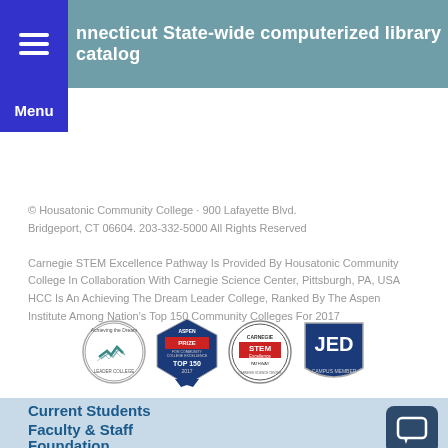Connecticut State-wide computerized library catalog
© Housatonic Community College · 900 Lafayette Blvd. Bridgeport, CT 06604. 203-332-5000 All Rights Reserved
Carnegie STEM Excellence Pathway Is Provided By Housatonic Community College In Collaboration With Carnegie Science Center, Pittsburgh, PA, USA
HCC Is An Achieving The Dream Leader College, Ranked By The Aspen Institute Among Nation's Top 150 Community Colleges For 2017
[Figure (logo): Four institutional achievement logos: Achieving the Dream Leader College badge, Aspen Prize Top 150 2017 badge, Carnegie STEM Excellence Pathway badge, JED Campus Member badge]
Current Students
Faculty & Staff
Foundation
Alumni